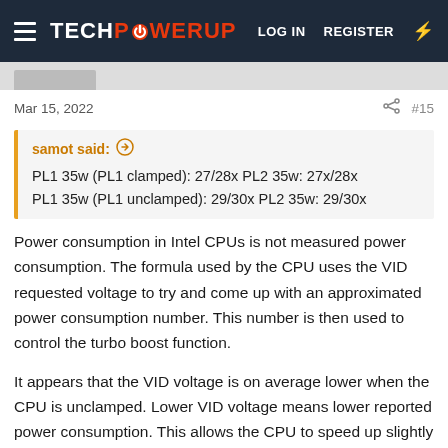TechPowerUp — LOG IN  REGISTER
Mar 15, 2022  #15
samot said:
PL1 35w (PL1 clamped): 27/28x PL2 35w: 27x/28x
PL1 35w (PL1 unclamped): 29/30x PL2 35w: 29/30x
Power consumption in Intel CPUs is not measured power consumption. The formula used by the CPU uses the VID requested voltage to try and come up with an approximated power consumption number. This number is then used to control the turbo boost function.
It appears that the VID voltage is on average lower when the CPU is unclamped. Lower VID voltage means lower reported power consumption. This allows the CPU to speed up slightly to get back up to the 35W power limit. That is what seems to be happening but I cannot come up with any explanation as to why this is happening. As long as the CPU is operating above the